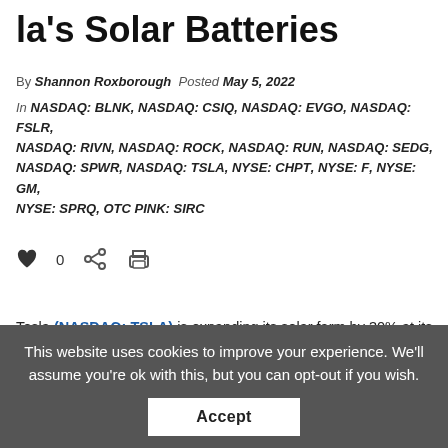la's Solar Batteries
By Shannon Roxborough Posted May 5, 2022
In NASDAQ: BLNK, NASDAQ: CSIQ, NASDAQ: EVGO, NASDAQ: FSLR, NASDAQ: RIVN, NASDAQ: ROCK, NASDAQ: RUN, NASDAQ: SEDG, NASDAQ: SPWR, NASDAQ: TSLA, NYSE: CHPT, NYSE: F, NYSE: GM, NYSE: SPRQ, OTC PINK: SIRC
[Figure (other): Social interaction icons: heart/like with count 0, share icon, print icon]
Tesla (NASDAQ: TSLA) is expanding its solar farm by 30% at its SpaceX launch site in South Texas and using its Tesla branded solar power battery packs at the site
This website uses cookies to improve your experience. We'll assume you're ok with this, but you can opt-out if you wish.